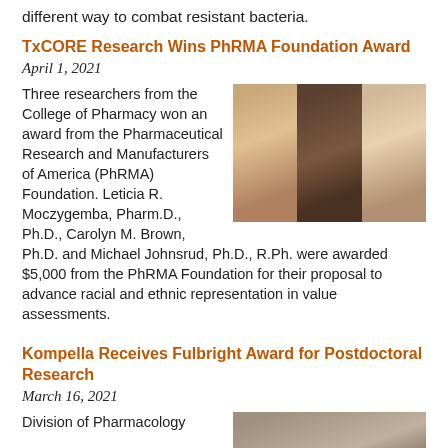different way to combat resistant bacteria.
TxCORE Research Wins PhRMA Foundation Award
April 1, 2021
[Figure (photo): Three researchers from the College of Pharmacy posed together: a woman with blonde hair, a woman with dark hair, and a man with glasses wearing a blue tie.]
Three researchers from the College of Pharmacy won an award from the Pharmaceutical Research and Manufacturers of America (PhRMA) Foundation. Leticia R. Moczygemba, Pharm.D., Ph.D., Carolyn M. Brown, Ph.D. and Michael Johnsrud, Ph.D., R.Ph. were awarded $5,000 from the PhRMA Foundation for their proposal to advance racial and ethnic representation in value assessments.
Kompella Receives Fulbright Award for Postdoctoral Research
March 16, 2021
[Figure (photo): A woman with dark hair, partial photo shown at bottom of page.]
Division of Pharmacology